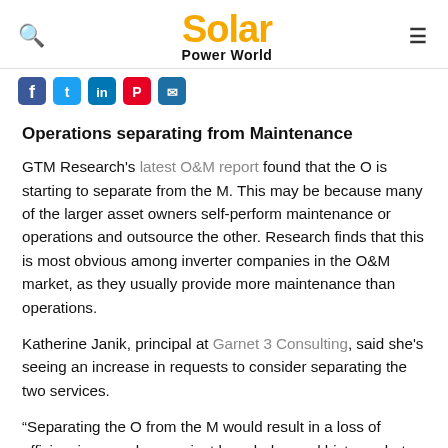Solar Power World
Operations separating from Maintenance
GTM Research's latest O&M report found that the O is starting to separate from the M. This may be because many of the larger asset owners self-perform maintenance or operations and outsource the other. Research finds that this is most obvious among inverter companies in the O&M market, as they usually provide more maintenance than operations.
Katherine Janik, principal at Garnet 3 Consulting, said she's seeing an increase in requests to consider separating the two services.
“Separating the O from the M would result in a loss of efficiencies—such as project knowledge and history—but this could be mitigated through proper documentation and automated systems